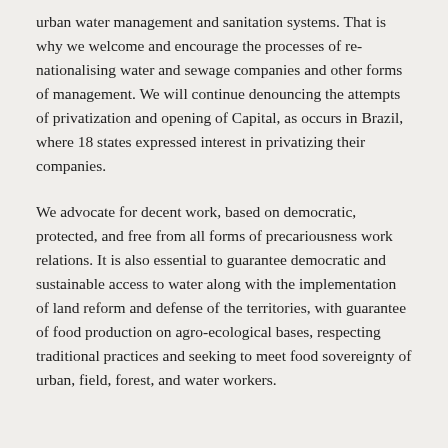urban water management and sanitation systems. That is why we welcome and encourage the processes of re-nationalising water and sewage companies and other forms of management. We will continue denouncing the attempts of privatization and opening of Capital, as occurs in Brazil, where 18 states expressed interest in privatizing their companies.
We advocate for decent work, based on democratic, protected, and free from all forms of precariousness work relations. It is also essential to guarantee democratic and sustainable access to water along with the implementation of land reform and defense of the territories, with guarantee of food production on agro-ecological bases, respecting traditional practices and seeking to meet food sovereignty of urban, field, forest, and water workers.